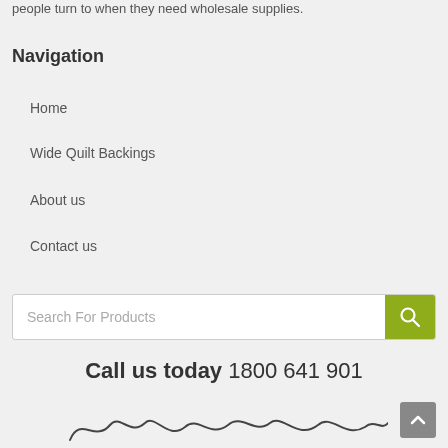people turn to when they need wholesale supplies.
Navigation
Home
Wide Quilt Backings
About us
Contact us
Search For Products
Call us today 1800 641 901
[Figure (illustration): Handwritten signature or cursive text at the bottom of the page]
[Figure (other): Scroll-to-top button, grey square with upward chevron arrow]